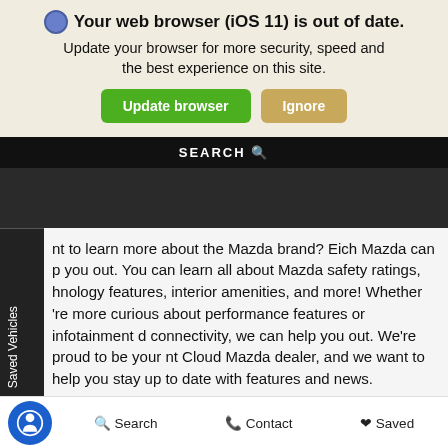Your web browser (iOS 11) is out of date. Update your browser for more security, speed and the best experience on this site.
[Figure (screenshot): Browser update banner with green 'Update browser' button and tan 'Ignore' button]
SEARCH
[Figure (photo): Dark hero/navigation area of a Mazda dealership website]
Saved Vehicles
nt to learn more about the Mazda brand? Eich Mazda can p you out. You can learn all about Mazda safety ratings, hnology features, interior amenities, and more! Whether 're more curious about performance features or infotainment d connectivity, we can help you out. We're proud to be your nt Cloud Mazda dealer, and we want to help you stay up to date with features and news.
Search   Contact   Saved